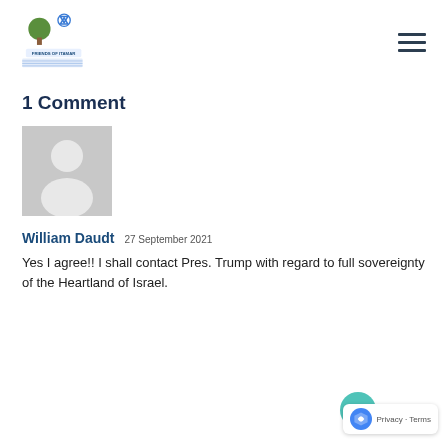[Figure (logo): Friends of Itamar logo with tree, Star of David and striped field imagery]
1 Comment
[Figure (illustration): Grey generic user avatar/silhouette placeholder image]
William Daudt   27 September 2021
Yes I agree!! I shall contact Pres. Trump with regard to full sovereignty of the Heartland of Israel.